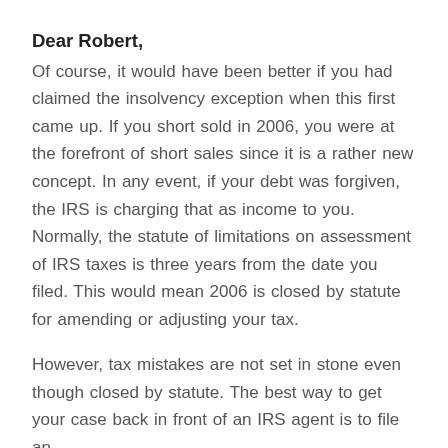Dear Robert,
Of course, it would have been better if you had claimed the insolvency exception when this first came up. If you short sold in 2006, you were at the forefront of short sales since it is a rather new concept. In any event, if your debt was forgiven, the IRS is charging that as income to you. Normally, the statute of limitations on assessment of IRS taxes is three years from the date you filed. This would mean 2006 is closed by statute for amending or adjusting your tax.
However, tax mistakes are not set in stone even though closed by statute. The best way to get your case back in front of an IRS agent is to file an